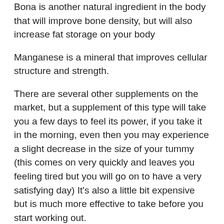Bona is another natural ingredient in the body that will improve bone density, but will also increase fat storage on your body
Manganese is a mineral that improves cellular structure and strength.
There are several other supplements on the market, but a supplement of this type will take you a few days to feel its power, if you take it in the morning, even then you may experience a slight decrease in the size of your tummy (this comes on very quickly and leaves you feeling tired but you will go on to have a very satisfying day) It's also a little bit expensive but is much more effective to take before you start working out.
It has all this great stuff but what about that last supplement – protein? It does